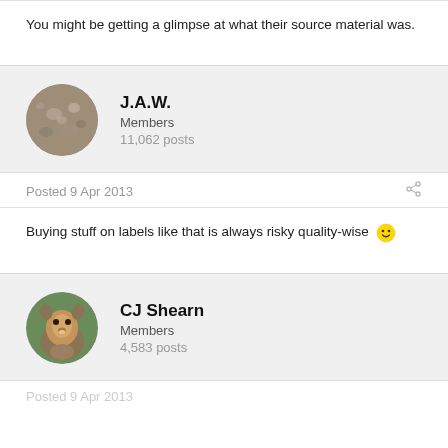You might be getting a glimpse at what their source material was.
J.A.W.
Members
11,062 posts
Posted 9 Apr 2013
Buying stuff on labels like that is always risky quality-wise 🙂
CJ Shearn
Members
4,583 posts